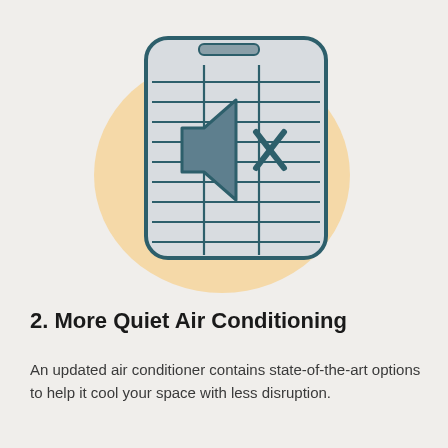[Figure (illustration): An illustration of a window air conditioning unit with horizontal louver vents. A muted speaker icon (with an X) is shown in the center of the unit, indicating quiet operation. The unit sits against a warm peach/tan oval background.]
2. More Quiet Air Conditioning
An updated air conditioner contains state-of-the-art options to help it cool your space with less disruption.